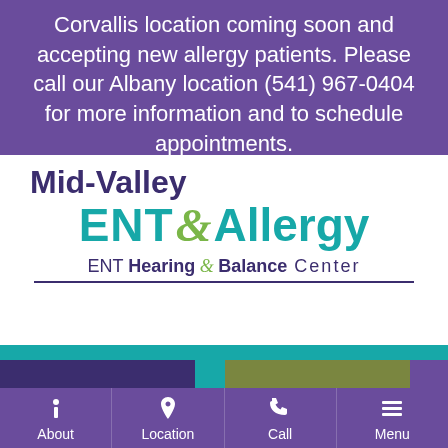Corvallis location coming soon and accepting new allergy patients. Please call our Albany location (541) 967-0404 for more information and to schedule appointments.
[Figure (logo): Mid-Valley ENT & Allergy logo with ENT Hearing & Balance Center tagline]
[Figure (infographic): Colored block section with teal bar and purple, teal, green, and purple rectangular blocks]
[Figure (infographic): Bottom navigation bar with four items: About, Location, Call, Menu with icons on purple background]